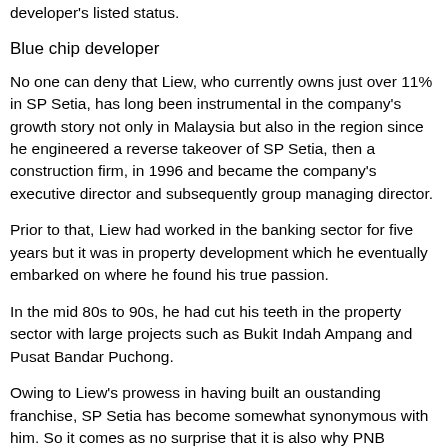developer's listed status.
Blue chip developer
No one can deny that Liew, who currently owns just over 11% in SP Setia, has long been instrumental in the company's growth story not only in Malaysia but also in the region since he engineered a reverse takeover of SP Setia, then a construction firm, in 1996 and became the company's executive director and subsequently group managing director.
Prior to that, Liew had worked in the banking sector for five years but it was in property development which he eventually embarked on where he found his true passion.
In the mid 80s to 90s, he had cut his teeth in the property sector with large projects such as Bukit Indah Ampang and Pusat Bandar Puchong.
Owing to Liew's prowess in having built an oustanding franchise, SP Setia has become somewhat synonymous with him. So it comes as no surprise that it is also why PNB...